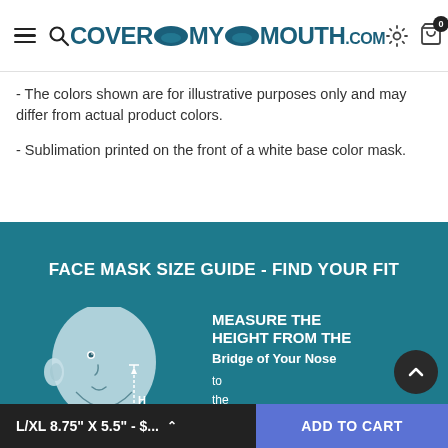CoverMyMouth.com
- The colors shown are for illustrative purposes only and may differ from actual product colors.
- Sublimation printed on the front of a white base color mask.
FACE MASK SIZE GUIDE - FIND YOUR FIT
[Figure (illustration): Side profile illustration of a person's head showing how to measure face mask height from the bridge of the nose to the bottom of the chin, with an 'H' marker indicating the height measurement.]
MEASURE THE HEIGHT FROM THE Bridge of Your Nose to the Bottom of Your Chin
L/XL 8.75" X 5.5" - $...   ADD TO CART